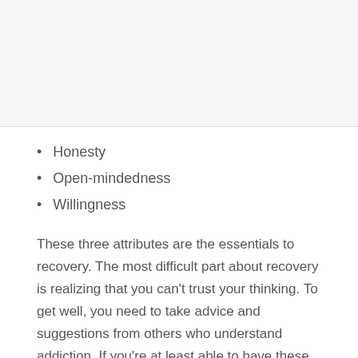Honesty
Open-mindedness
Willingness
These three attributes are the essentials to recovery. The most difficult part about recovery is realizing that you can't trust your thinking. To get well, you need to take advice and suggestions from others who understand addiction. If you're at least able to have these attributes, your chances of staying sober are extremely high. Developing them may take time and require participating in group therapy or individual therapy.
How to Avoid Relapse is an Inside Job